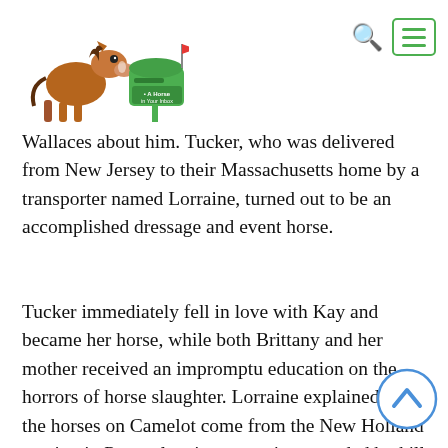[Figure (logo): A Horse in Your Inbox logo — cartoon horse next to a green mailbox with a red flag, text reads 'A Horse in Your Inbox']
Wallaces about him. Tucker, who was delivered from New Jersey to their Massachusetts home by a transporter named Lorraine, turned out to be an accomplished dressage and event horse.
Tucker immediately fell in love with Kay and became her horse, while both Brittany and her mother received an impromptu education on the horrors of horse slaughter. Lorraine explained that the horses on Camelot come from the New Holland auction in Pennsylvania, an auction attended by kill buyers.